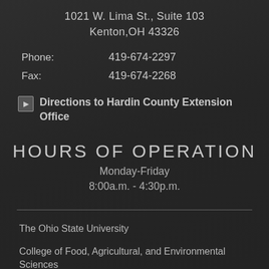1021 W. Lima St., Suite 103
Kenton,OH 43326
Phone: 419-674-2297
Fax: 419-674-2268
Directions to Hardin County Extension Office
HOURS OF OPERATION
Monday-Friday
8:00a.m. - 4:30p.m.
The Ohio State University
College of Food, Agricultural, and Environmental Sciences